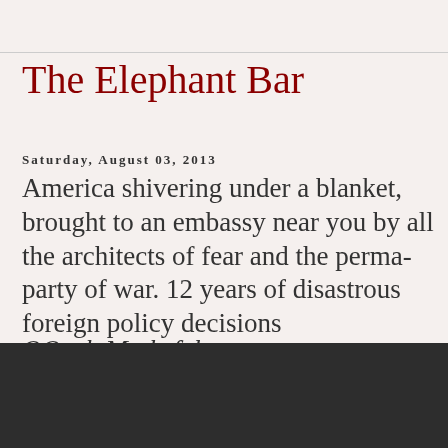The Elephant Bar
Saturday, August 03, 2013
America shivering under a blanket, brought to an embassy near you by all the architects of fear and the perma-party of war. 12 years of disastrous foreign policy decisions
OOrah Muthrfukrs
[Figure (photo): Dark rectangular image block at bottom of page]